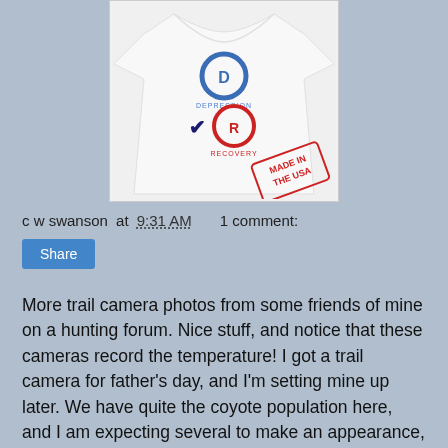[Figure (photo): A white t-shirt with political graphic showing D circle labeled DEPRESSION (unchecked) and R circle labeled RECOVERY (checked with checkmark), plus a 'MADE IN THE USA' red stamp in the lower right corner.]
c w swanson at 9:31 AM    1 comment:
Share
More trail camera photos from some friends of mine on a hunting forum. Nice stuff, and notice that these cameras record the temperature! I got a trail camera for father's day, and I'm setting mine up later. We have quite the coyote population here, and I am expecting several to make an appearance, plus plenty of skunks and opossums. Several